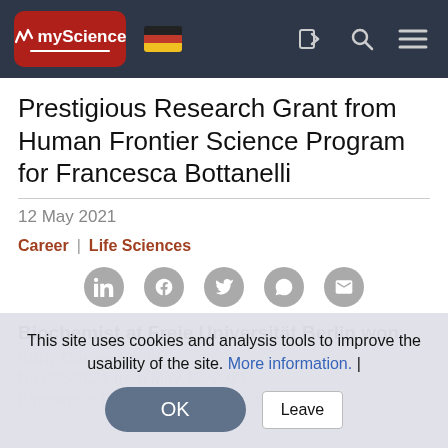myScience [logo] [German flag] [login icon] [search icon] [menu icon]
Prestigious Research Grant from Human Frontier Science Program for Francesca Bottanelli
12 May 2021
Career  |  Life Sciences
[Figure (infographic): Social media share icons: LinkedIn, Facebook, Twitter, WhatsApp, Email]
Biochemist at Freie Universität Berlin won Early Career Grant
No 088/2021  from May 12, 2021
Biochemist Francesca Bottanelli, a junior
This site uses cookies and analysis tools to improve the usability of the site. More information. |
OK
Leave